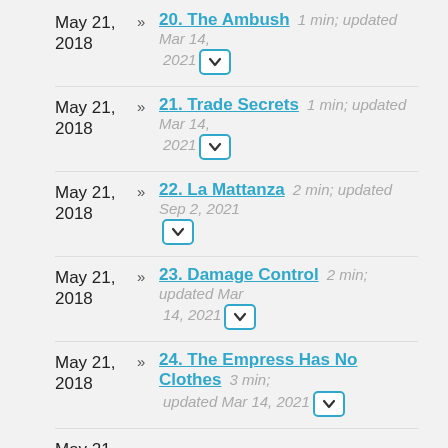May 21, 2018 » 20. The Ambush 1 min; updated Mar 14, 2021
May 21, 2018 » 21. Trade Secrets 1 min; updated Mar 14, 2021
May 21, 2018 » 22. La Mattanza 2 min; updated Sep 2, 2021
May 21, 2018 » 23. Damage Control 2 min; updated Mar 14, 2021
May 21, 2018 » 24. The Empress Has No Clothes 3 min; updated Mar 14, 2021
May 21,